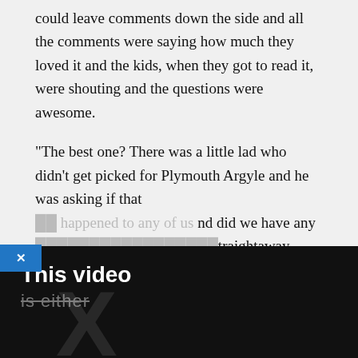could leave comments down the side and all the comments were saying how much they loved it and the kids, when they got to read it, were shouting and the questions were awesome.
“The best one? There was a little lad who didn’t get picked for Plymouth Argyle and he was asking if that had happened to any of us and did we have any [advice]... straightaway, ‘Look, I [was rejected] but don’t worry about it, [keep] being resilient and you will [bounce back] and do other things’.
[Figure (screenshot): A popup dialog box overlaying the article text. It has a dark/black background with a blue X button in the top-left corner, a white circular close button with X in the top-right, bold white text reading 'This video', strikethrough grey text below it reading 'is either', a large faded X watermark, and an 'OK' button at the bottom.]
[Figure (screenshot): An advertisement banner at the bottom of the page showing a sports/game app called 'Hold and Move' with a dark background, player icon in blue, score display, and help/close buttons.]